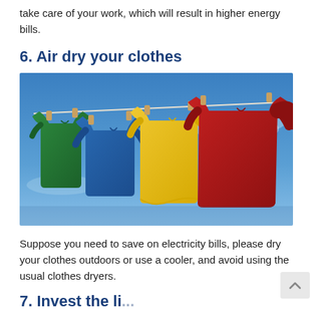take care of your work, which will result in higher energy bills.
6. Air dry your clothes
[Figure (photo): Four colorful t-shirts (green, blue, yellow, red) hanging on a clothesline with wooden pegs against a blue sky]
Suppose you need to save on electricity bills, please dry your clothes outdoors or use a cooler, and avoid using the usual clothes dryers.
7. Invest the li...